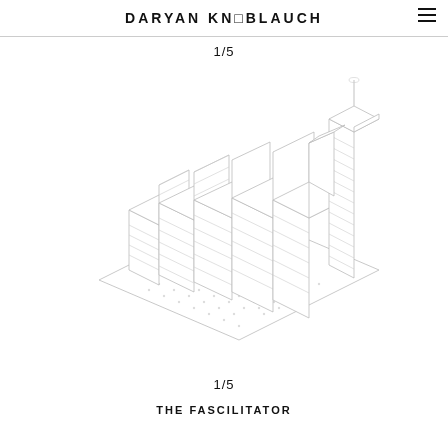DARYAN KNOBLAUCH
1/5
[Figure (engineering-diagram): Axonometric/isometric architectural diagram of a stepped building complex on a large base platform. Multiple stepped-height towers increase in height from left to right, with a tall thin cylindrical tower on the right side. The drawing is a white line-on-white wireframe style with very light gray lines showing the building structure, windows, and site details.]
1/5
THE FASCILITATOR